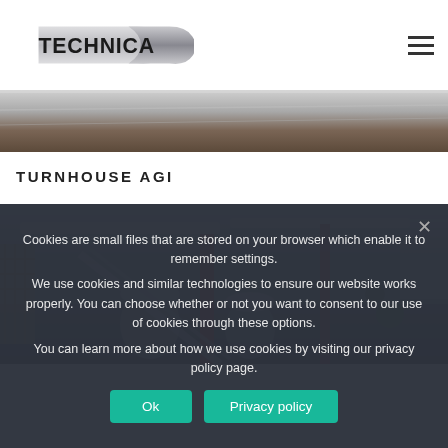Technica logo and navigation
[Figure (photo): Narrow horizontal banner strip showing industrial roof/ceiling — grey metallic tones fading to brown earth tones]
TURNHOUSE AGI
[Figure (photo): Interior of industrial agricultural grain installation (AGI) facility showing metallic ductwork, conveyors, red structural supports, and various grain handling equipment in a large shed]
Cookies are small files that are stored on your browser which enable it to remember settings.
We use cookies and similar technologies to ensure our website works properly. You can choose whether or not you want to consent to our use of cookies through these options.
You can learn more about how we use cookies by visiting our privacy policy page.